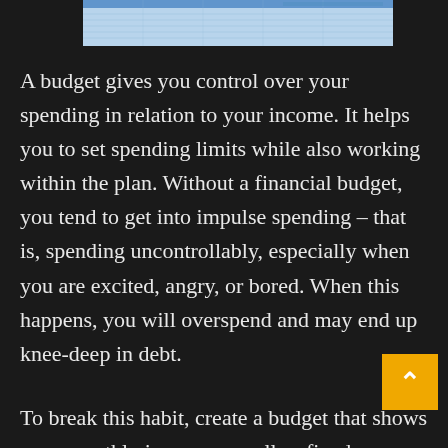[Figure (screenshot): Partial image of a financial document or spreadsheet with blue tones, visible at the top of the page]
A budget gives you control over your spending in relation to your income. It helps you to set spending limits while also working within the plan. Without a financial budget, you tend to get into impulse spending – that is, spending uncontrollably, especially when you are excited, angry, or bored. When this happens, you will overspend and may end up knee-deep in debt.
To break this habit, create a budget that shows your monthly income as well as fixed monthly expenses. When you subtract your monthly expenses from your monthly income, you know what you have to spend on food, transportation, entertainment, and